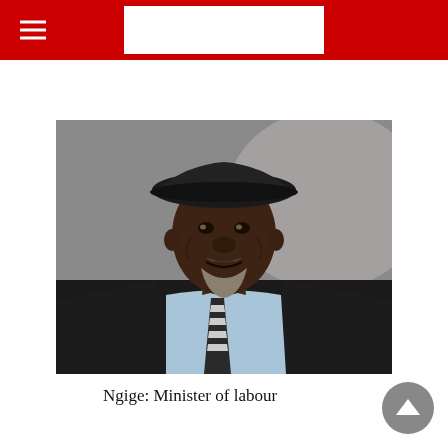[Figure (photo): Portrait photo of Ngige, Minister of Labour, wearing a black flat cap, dark suit jacket, light blue shirt, and black and white striped tie, smiling slightly against a blurred grey background.]
Ngige: Minister of labour